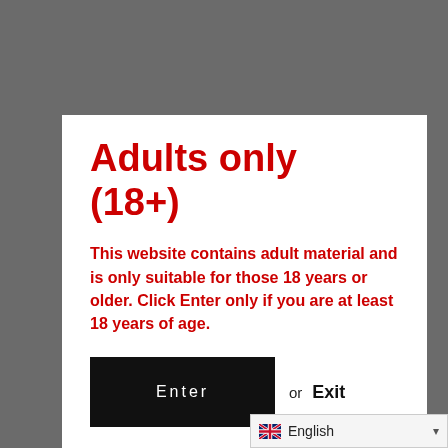Adults only (18+)
This website contains adult material and is only suitable for those 18 years or older. Click Enter only if you are at least 18 years of age.
Enter  or  Exit
English